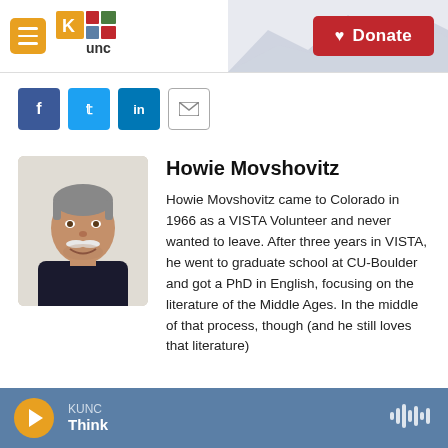KUNC — Donate
[Figure (logo): KUNC radio logo with hamburger menu and Donate button]
[Figure (illustration): Social share buttons: Facebook, Twitter, LinkedIn, Email]
[Figure (photo): Portrait photo of Howie Movshovitz, an older man with grey hair and a white moustache, smiling]
Howie Movshovitz
Howie Movshovitz came to Colorado in 1966 as a VISTA Volunteer and never wanted to leave. After three years in VISTA, he went to graduate school at CU-Boulder and got a PhD in English, focusing on the literature of the Middle Ages. In the middle of that process, though (and he still loves that literature)
KUNC Think